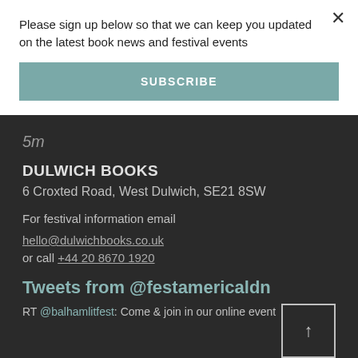Please sign up below so that we can keep you updated on the latest book news and festival events
SUBSCRIBE
5m
DULWICH BOOKS
6 Croxted Road, West Dulwich, SE21 8SW
For festival information email
hello@dulwichbooks.co.uk
or call +44 20 8670 1920
Tweets from @festamericaldn
RT @balhamlitfest: Come & join in our online event